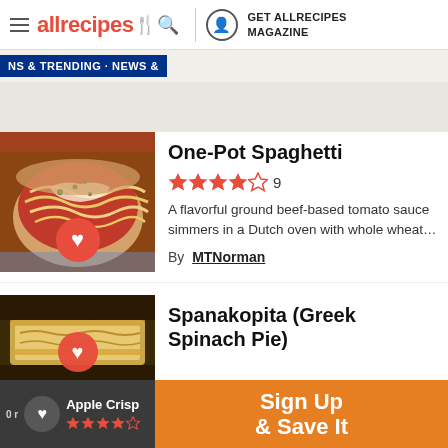allrecipes | GET ALLRECIPES MAGAZINE
NEWS & TRENDING · NEWS &
One-Pot Spaghetti
★★★★☆ 9
A flavorful ground beef-based tomato sauce simmers in a Dutch oven with whole wheat...
By MTNorman
Spanakopita (Greek Spinach Pie)
Apple Crisp Sign Up & Save It